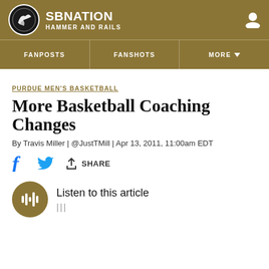SBNATION HAMMER AND RAILS
FANPOSTS | FANSHOTS | MORE
PURDUE MEN'S BASKETBALL
More Basketball Coaching Changes
By Travis Miller | @JustTMill | Apr 13, 2011, 11:00am EDT
[Figure (infographic): Social sharing bar with Facebook, Twitter, and Share icons]
[Figure (infographic): Listen to this article audio player with play button and waveform icon]